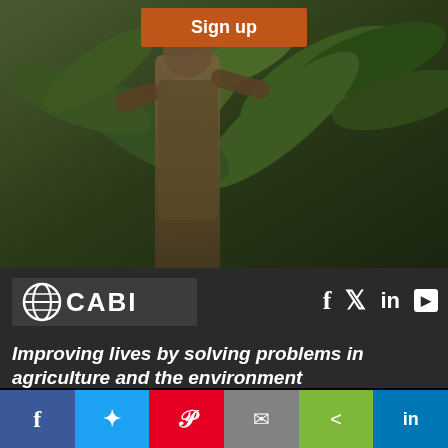[Figure (photo): Person working among green tropical/agricultural plants, background nature scene]
Sign up
[Figure (logo): CABI logo with circular globe icon and text CABI on dark grey background]
[Figure (infographic): Social media icons: Facebook, Twitter, LinkedIn, YouTube]
Improving lives by solving problems in agriculture and the environment
Like most websites we use cookies. This is to ensure that we give you the best experience possible. Continuing to use Plantwise Blog means you agree to our use of cookies. If you would like to, you can learn more about the cookies we use here.
[Figure (infographic): Social share bar at bottom: Facebook, Twitter, Pinterest, Email, Share, LinkedIn buttons]